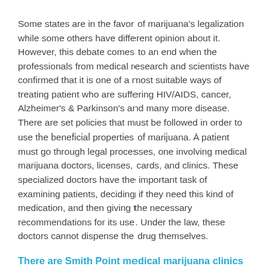Some states are in the favor of marijuana's legalization while some others have different opinion about it. However, this debate comes to an end when the professionals from medical research and scientists have confirmed that it is one of a most suitable ways of treating patient who are suffering HIV/AIDS, cancer, Alzheimer's & Parkinson's and many more disease. There are set policies that must be followed in order to use the beneficial properties of marijuana. A patient must go through legal processes, one involving medical marijuana doctors, licenses, cards, and clinics. These specialized doctors have the important task of examining patients, deciding if they need this kind of medication, and then giving the necessary recommendations for its use. Under the law, these doctors cannot dispense the drug themselves.
There are Smith Point medical marijuana clinics that are set up for this purpose.
Get a diagnosis from your own doctor regarding your illness (…)